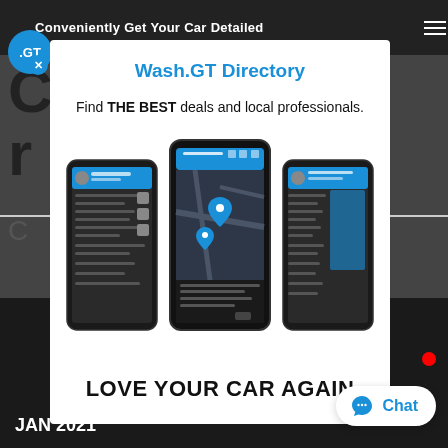Conveniently Get Your Car Detailed
Wash.GT Directory
Find THE BEST deals and local professionals.
[Figure (screenshot): Three smartphones showing the Wash.GT mobile app screens: a menu/profile screen, a map screen with location pins, and another menu screen]
LOVE YOUR CAR AGAIN
JAN 2021
Chat